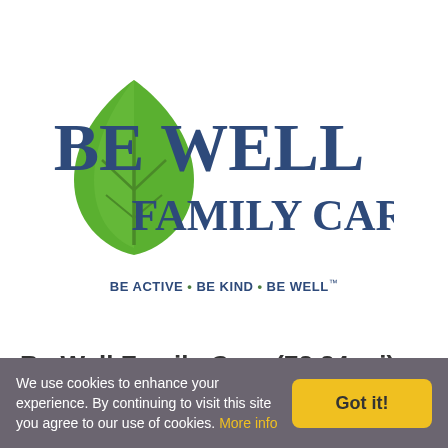[Figure (logo): Be Well Family Care logo with a green leaf icon on the left and the text 'BE WELL FAMILY CARE' in dark blue, with tagline 'BE ACTIVE • BE KIND • BE WELL™' below]
Be Well Family Care (73.34 mi)
in Family Practice, HIV Specialists
We use cookies to enhance your experience. By continuing to visit this site you agree to our use of cookies. More info